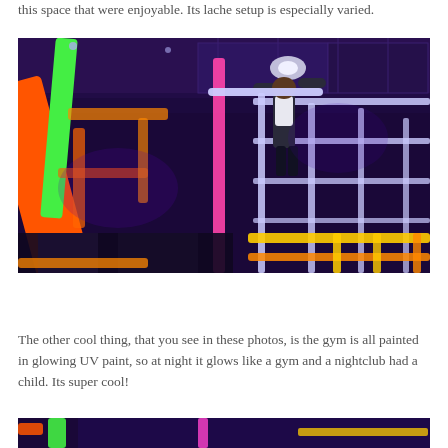this space that were enjoyable. Its lache setup is especially varied.
[Figure (photo): Indoor trampoline/obstacle gym at night with neon UV-painted bars and structures glowing in orange, green, pink, yellow and white against a dark purple background. A person is hanging from horizontal bars near the top of the frame.]
The other cool thing, that you see in these photos, is the gym is all painted in glowing UV paint, so at night it glows like a gym and a nightclub had a child. Its super cool!
[Figure (photo): Bottom portion of another neon UV-lit gym photo showing colorful glowing bars and structures.]